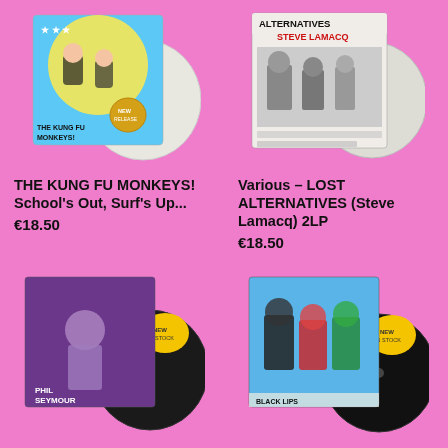[Figure (photo): Album cover for THE KUNG FU MONKEYS! School's Out, Surf's Up... vinyl record with illustrated characters on yellow/blue background, shown with white vinyl disc]
THE KUNG FU MONKEYS! School's Out, Surf's Up...
€18.50
[Figure (photo): Album cover for Various - LOST ALTERNATIVES (Steve Lamacq) 2LP, monochrome photo-style cover, shown with white/clear vinyl disc]
Various – LOST ALTERNATIVES (Steve Lamacq) 2LP
€18.50
[Figure (photo): Album cover for PHIL SEYMOUR S/T, purple cover with figure, shown with black vinyl disc and yellow sticker]
PHIL SEYMOUR – S/T
[Figure (photo): Album cover for BLACK LIPS We Did Not Know The Forest Spirit..., colorful illustrated cover with black vinyl disc and yellow sticker]